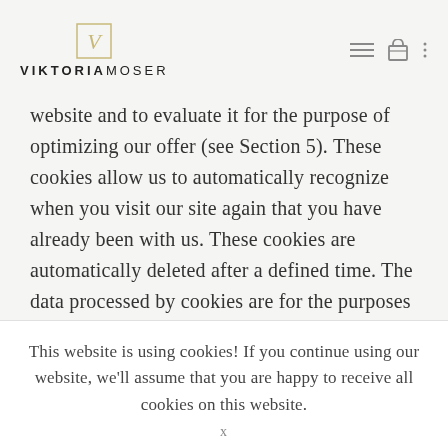VIKTORIA MOSER
website and to evaluate it for the purpose of optimizing our offer (see Section 5). These cookies allow us to automatically recognize when you visit our site again that you have already been with us. These cookies are automatically deleted after a defined time. The data processed by cookies are for the purposes mentioned in order to safeguard our legitimate interests as well as third parties according to Art. 6 seq. 1 sentence 1 lit. f DSGVO required. Most browsers accept cookies automatically. However, you can configure your browser so that no cookies are stored on your computer or always a hint appears before a
This website is using cookies! If you continue using our website, we'll assume that you are happy to receive all cookies on this website.